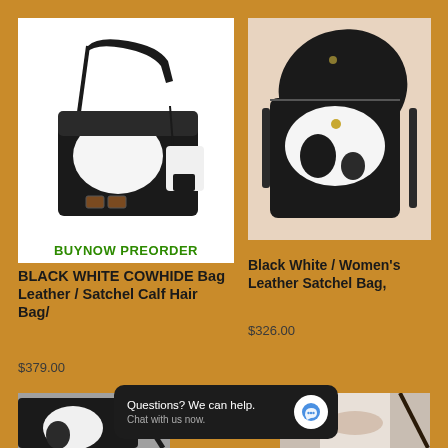[Figure (photo): Black and white cowhide crossbody bag with buckles and a small pouch, white background]
BUYNOW PREORDER
BLACK WHITE COWHIDE Bag Leather / Satchel Calf Hair Bag/
$379.00
[Figure (photo): Black and white cowhide women's leather satchel bag on beige background]
Black White / Women's Leather Satchel Bag,
$326.00
[Figure (photo): Partial view of a black and white cowhide bag at bottom left]
[Figure (photo): Partial view of a woman holding a leather bag at bottom right]
Questions? We can help. Chat with us now.